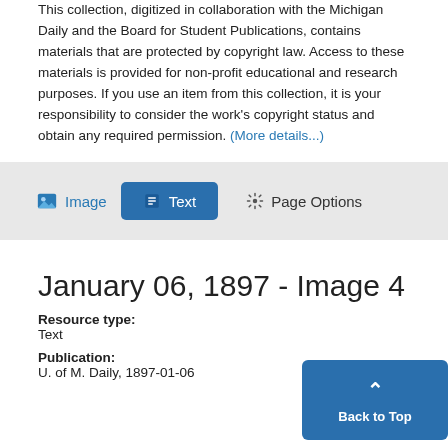This collection, digitized in collaboration with the Michigan Daily and the Board for Student Publications, contains materials that are protected by copyright law. Access to these materials is provided for non-profit educational and research purposes. If you use an item from this collection, it is your responsibility to consider the work's copyright status and obtain any required permission. (More details...)
[Figure (screenshot): Toolbar with Image, Text, and Page Options buttons; Text button is active (blue background)]
January 06, 1897 - Image 4
Resource type:
Text
Publication:
U. of M. Daily, 1897-01-06